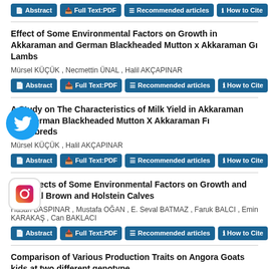[Figure (other): Top navigation buttons row (Abstract, Full Text:PDF, Recommended articles, How to Cite) partially visible at top]
Effect of Some Environmental Factors on Growth in Akkaraman and German Blackheaded Mutton x Akkaraman Gı Lambs
Mürsel KÜÇÜK , Necmettin ÜNAL , Halil AKÇAPINAR
[Figure (other): Button row: Abstract, Full Text:PDF, Recommended articles, How to Cite]
A Study on The Characteristics of Milk Yield in Akkaraman and German Blackheaded Mutton X Akkaraman Fı Crossbreds
Mürsel KÜÇÜK , Halil AKÇAPINAR
[Figure (other): Button row: Abstract, Full Text:PDF, Recommended articles, How to Cite]
The Effects of Some Environmental Factors on Growth and Survival Brown and Holstein Calves
Hasan BASPINAR , Mustafa OĞAN , E. Seval BATMAZ , Faruk BALCI , Emin KARAKAS , Can BAKLACI
[Figure (other): Button row: Abstract, Full Text:PDF, Recommended articles, How to Cite]
Comparison of Various Production Traits on Angora Goats kids at two different genotype